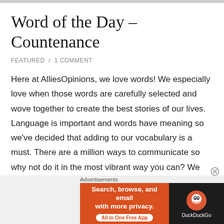Word of the Day – Countenance
FEATURED / 1 COMMENT
Here at AlliesOpinions, we love words! We especially love when those words are carefully selected and wove together to create the best stories of our lives. Language is important and words have meaning so we've decided that adding to our vocabulary is a must. There are a million ways to communicate so why not do it in the most vibrant way you can? We hope you enjoy our selections!
Advertisements
[Figure (infographic): DuckDuckGo advertisement banner: orange background with text 'Search, browse, and email with more privacy. All in One Free App' and DuckDuckGo logo on dark background.]